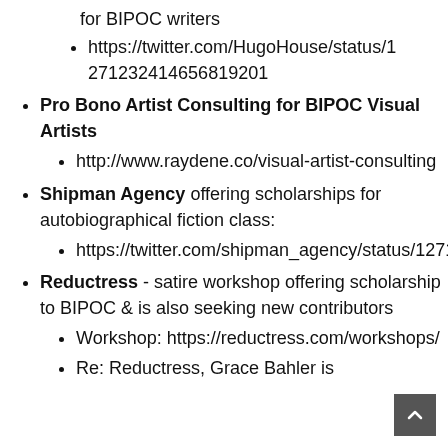for BIPOC writers
https://twitter.com/HugoHouse/status/1271232414656819201
Pro Bono Artist Consulting for BIPOC Visual Artists
http://www.raydene.co/visual-artist-consulting
Shipman Agency offering scholarships for autobiographical fiction class:
https://twitter.com/shipman_agency/status/1271169309436411909
Reductress - satire workshop offering scholarship to BIPOC & is also seeking new contributors
Workshop: https://reductress.com/workshops/
Re: Reductress, Grace Bahler is